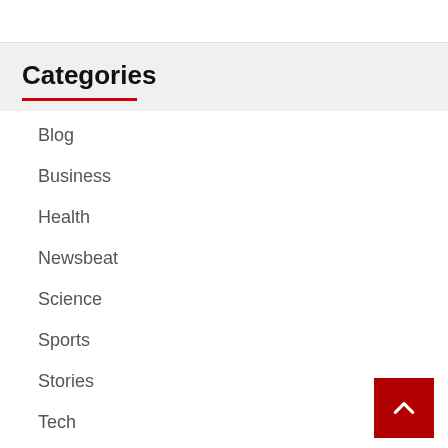Categories
Blog
Business
Health
Newsbeat
Science
Sports
Stories
Tech
World